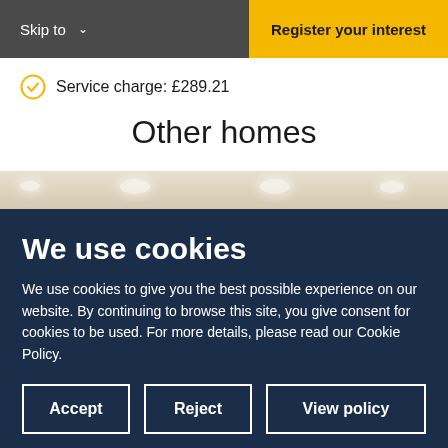Skip to   Register your interest
Service charge: £289.21
Other homes
[Figure (photo): Ceiling of a room with recessed lighting]
We use cookies
We use cookies to give you the best possible experience on our website. By continuing to browse this site, you give consent for cookies to be used. For more details, please read our Cookie Policy.
Accept  Reject  View policy